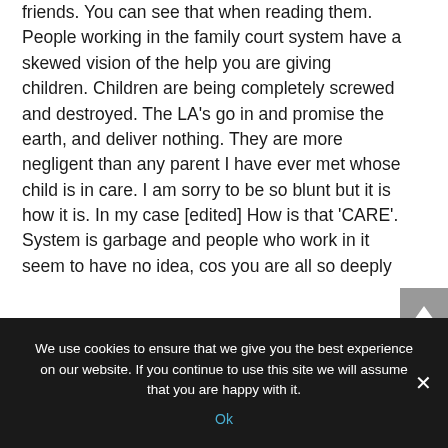friends. You can see that when reading them. People working in the family court system have a skewed vision of the help you are giving children. Children are being completely screwed and destroyed. The LA's go in and promise the earth, and deliver nothing. They are more negligent than any parent I have ever met whose child is in care. I am sorry to be so blunt but it is how it is. In my case [edited] How is that 'CARE'. System is garbage and people who work in it seem to have no idea, cos you are all so deeply
We use cookies to ensure that we give you the best experience on our website. If you continue to use this site we will assume that you are happy with it.
Ok